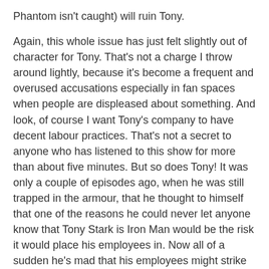Phantom isn't caught) will ruin Tony.

Again, this whole issue has just felt slightly out of character for Tony. That's not a charge I throw around lightly, because it's become a frequent and overused accusations especially in fan spaces when people are displeased about something. And look, of course I want Tony's company to have decent labour practices. That's not a secret to anyone who has listened to this show for more than about five minutes. But so does Tony! It was only a couple of episodes ago, when he was still trapped in the armour, that he thought to himself that one of the reasons he could never let anyone know that Tony Stark is Iron Man would be the risk it would place his employees in. Now all of a sudden he's mad that his employees might strike because they don't want to get killed? Boo. Just boo.